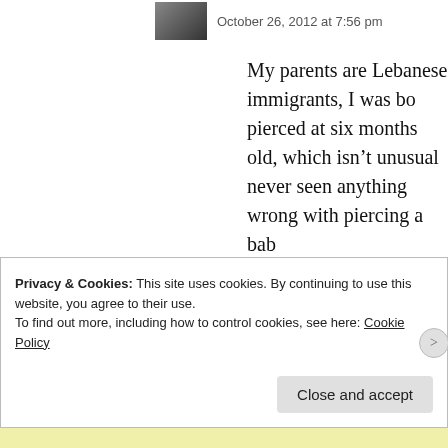October 26, 2012 at 7:56 pm
My parents are Lebanese immigrants, I was bo... pierced at six months old, which isn't unusual... never seen anything wrong with piercing a bab... (hypothetical) children, I think I'd wait until th... son or daughter of mine asks for a piercing, I'... standpoint: If my young daughter wants pierce... her nose pierced, I'd most likely say hell no. I... pierced, I'd say, more power to you; if he wan... you crazy! Go to your room!" You get the idea
★ Like
Reply
Privacy & Cookies: This site uses cookies. By continuing to use this website, you agree to their use.
To find out more, including how to control cookies, see here: Cookie Policy